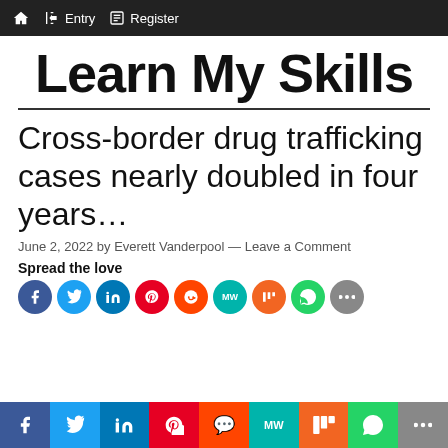Home  Entry  Register
Learn My Skills
Cross-border drug trafficking cases nearly doubled in four years…
June 2, 2022 by Everett Vanderpool — Leave a Comment
Spread the love
[Figure (other): Social share buttons: Facebook, Twitter, LinkedIn, Pinterest, Reddit, MeWe, Mix, WhatsApp, More]